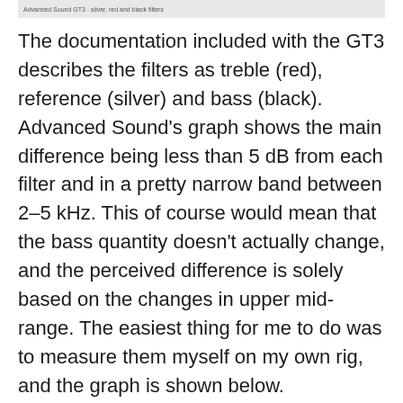Advanced Sound GT3 - silver, red and black filters
The documentation included with the GT3 describes the filters as treble (red), reference (silver) and bass (black). Advanced Sound’s graph shows the main difference being less than 5 dB from each filter and in a pretty narrow band between 2–5 kHz. This of course would mean that the bass quantity doesn’t actually change, and the perceived difference is solely based on the changes in upper mid-range. The easiest thing for me to do was to measure them myself on my own rig, and the graph is shown below.
Sure enough, while my graphs showed differences between the measuring systems, the main change was between 2–7 kHz, and the main changes were between 3–4 kHz and max change